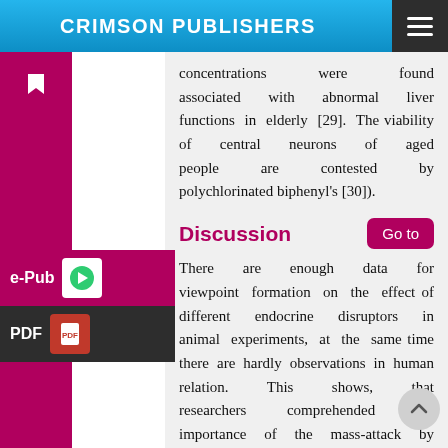CRIMSON PUBLISHERS
concentrations were found associated with abnormal liver functions in elderly [29]. The viability of central neurons of aged people are contested by polychlorinated biphenyl's [30]).
Discussion
There are enough data for viewpoint formation on the effect of different endocrine disruptors in animal experiments, at the same time there are hardly observations in human relation. This shows, that researchers comprehended the importance of the mass-attack by endocrine disruptors, while doctors are expecting more data, before